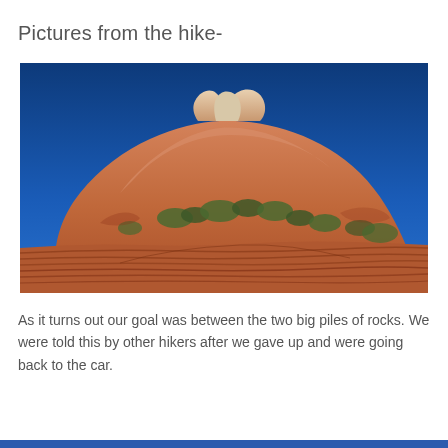Pictures from the hike-
[Figure (photo): Outdoor landscape photograph showing red sandstone rock formations under a clear deep blue sky. Layered flat rocks in the foreground, a large smooth dome-shaped red rock hill in the middle, with scrub brush vegetation, and two rocky outcroppings at the peak against blue sky.]
As it turns out our goal was between the two big piles of rocks. We were told this by other hikers after we gave up and were going back to the car.